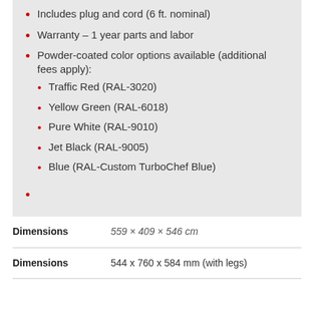Includes plug and cord (6 ft. nominal)
Warranty – 1 year parts and labor
Powder-coated color options available (additional fees apply):
Traffic Red (RAL-3020)
Yellow Green (RAL-6018)
Pure White (RAL-9010)
Jet Black (RAL-9005)
Blue (RAL-Custom TurboChef Blue)
|  |  |
| --- | --- |
| Dimensions | 559 × 409 × 546 cm |
| Dimensions | 544 x 760 x 584 mm (with legs) |